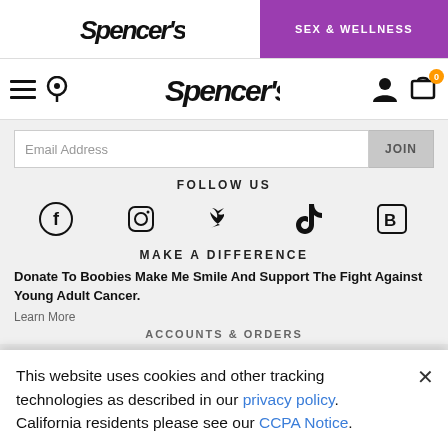[Figure (screenshot): Spencer's logo (graffiti style) in top bar]
SEX & WELLNESS
[Figure (logo): Spencer's graffiti logo in nav bar]
Email Address
JOIN
FOLLOW US
[Figure (illustration): Social media icons: Facebook, Instagram, Twitter, TikTok, Bazaarvoice]
MAKE A DIFFERENCE
Donate To Boobies Make Me Smile And Support The Fight Against Young Adult Cancer.
Learn More
ACCOUNTS & ORDERS
This website uses cookies and other tracking technologies as described in our privacy policy. California residents please see our CCPA Notice.